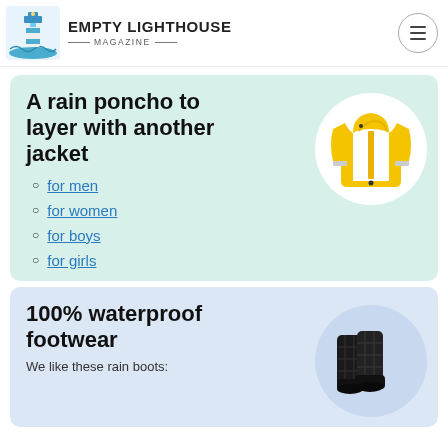EMPTY LIGHTHOUSE MAGAZINE
A rain poncho to layer with another jacket
[Figure (illustration): Yellow rain jacket/poncho product photo in a white circle]
for men
for women
for boys
for girls
100% waterproof footwear
[Figure (illustration): Black waterproof rain boots product photo in a circle]
We like these rain boots: